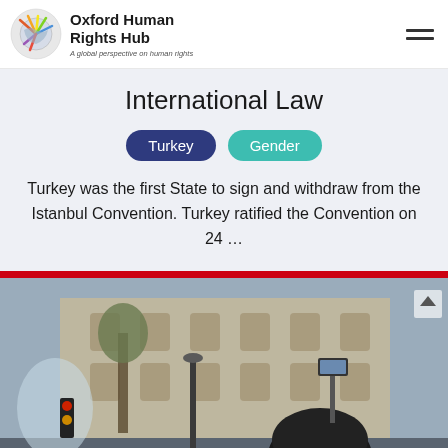Oxford Human Rights Hub — A global perspective on human rights
International Law
Turkey
Gender
Turkey was the first State to sign and withdraw from the Istanbul Convention. Turkey ratified the Convention on 24 ...
[Figure (photo): Protest scene showing a person in riot gear/helmet holding a phone on a mount, with a neoclassical building and water spray in the background]